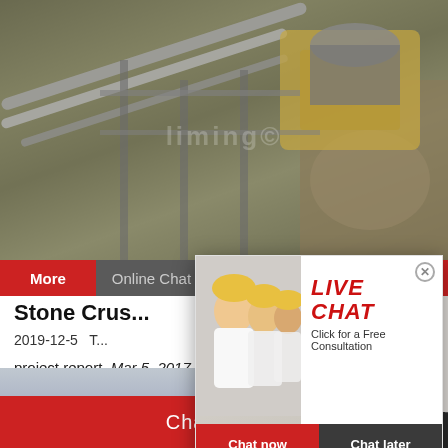[Figure (photo): Industrial stone crusher machinery and equipment at a quarry or mining site, with conveyor belts, pipes, and heavy machinery visible. A watermark text appears in the center.]
More
Online Chat
hrs Online
Stone Crus...
2019-12-5  T...
project report. Mar 5, 2017 stone crusher p... bank loan in india. Simply complete the form... submit, you will get the price list and a Vorke...
[Figure (photo): Live Chat popup overlay with workers in yellow hard hats on the left side and LIVE CHAT title in red italic text, along with Chat now and Chat later buttons. Close button in top right corner.]
[Figure (photo): Customer service representative with headset on right side panel]
Need questions & suggestion?
Chat Now
Chat Online
Enquire...